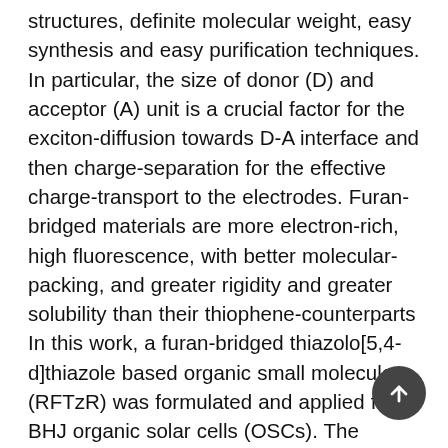structures, definite molecular weight, easy synthesis and easy purification techniques. In particular, the size of donor (D) and acceptor (A) unit is a crucial factor for the exciton-diffusion towards D-A interface and then charge-separation for the effective charge-transport to the electrodes. Furan-bridged materials are more electron-rich, high fluorescence, with better molecular-packing, and greater rigidity and greater solubility than their thiophene-counterparts In this work, a furan-bridged thiazolo[5,4-d]thiazole based organic small molecule (RFTzR) was formulated and applied for BHJ organic solar cells (OSCs). The introduction of furan spacer with two terminal alkyl units improved its absorption and solubility in the common organic solvents, significantly. RFTzR exhibited a HOMO and LUMO energy levels of -5.36 eV and -3.14 eV, respectively. The fabricated solar cell devices of RFTzR (donor) with PC60BM (acceptor) as photoactive